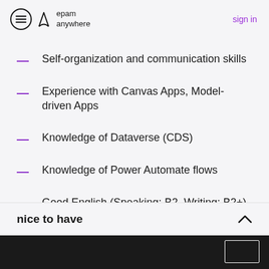epam anywhere — sign in
Self-organization and communication skills
Experience with Canvas Apps, Model-driven Apps
Knowledge of Dataverse (CDS)
Knowledge of Power Automate flows
Good English (Speaking: B2, Writing: B2+)
nice to have